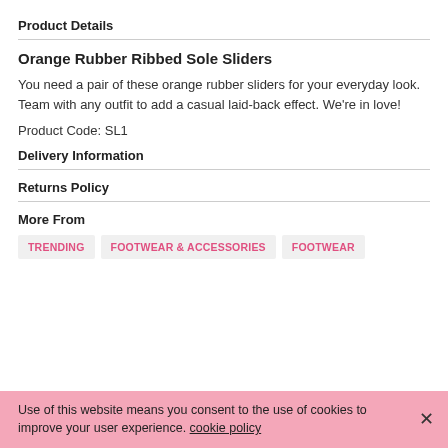Product Details
Orange Rubber Ribbed Sole Sliders
You need a pair of these orange rubber sliders for your everyday look. Team with any outfit to add a casual laid-back effect. We're in love!
Product Code: SL1
Delivery Information
Returns Policy
More From
TRENDING
FOOTWEAR & ACCESSORIES
FOOTWEAR
Use of this website means you consent to the use of cookies to improve your user experience. cookie policy